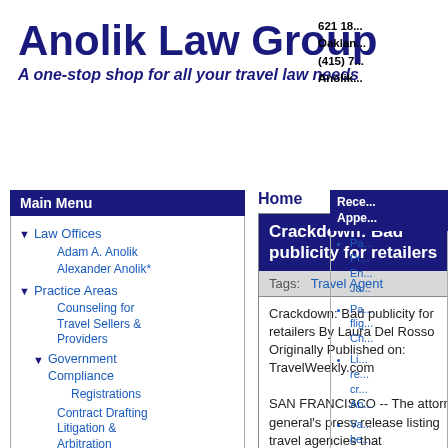Anolik Law Group
A one-stop shop for all your travel law needs
621 18...
Oaklan...
(415) 7...
Anolik...
Main Menu
Law Offices
Adam A. Anolik
Alexander Anolik*
Practice Areas
Counseling for Travel Sellers & Providers
Government Compliance
Registrations
Contract Drafting
Litigation & Arbitration
Risk / Crisis Management
Representative Clients
Info for Travel Sellers
Home
Crackdown: Bad publicity for retailers
Tags:   Travel Agent
Crackdown: Bad publicity for retailers By Laura Del Rosso Originally Published on: TravelWeekly.com

SAN FRANCISCO -- The attorney general's press release listing travel agencies that
Rece... Appe...
Pa... Pr... En... Ja...
Pa... flig... Ch...
Li... re... cr... Ab...
Va... be... Ca...
Co... An... Ac... M...